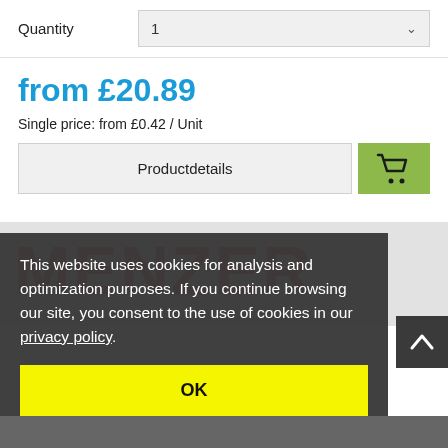Quantity   1
from £20.89
Single price: from £0.42 / Unit
Productdetails
[Figure (screenshot): MENZER brand logo in large red bold text, partially visible]
This website uses cookies for analysis and optimization purposes. If you continue browsing our site, you consent to the use of cookies in our privacy policy.
OK